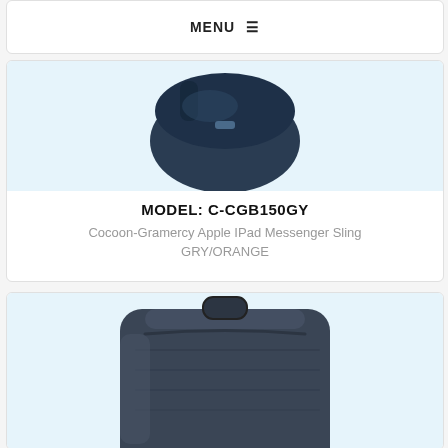MENU ☰
[Figure (photo): Dark navy blue messenger sling bag photographed from above on a light blue background]
MODEL: C-CGB150GY
Cocoon-Gramercy Apple IPad Messenger Sling GRY/ORANGE
[Figure (photo): Dark navy/charcoal square-shaped backpack or case photographed on a light blue background, viewed from the front]